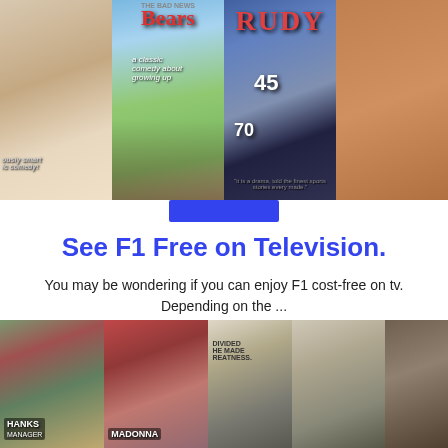[Figure (photo): Top row of movie poster images: partial left poster, The Bad News Bears poster, Rudy poster, and partial right poster]
[Figure (illustration): Small blue rectangular button/banner below top images]
See F1 Free on Television.
You may be wondering if you can enjoy F1 cost-free on tv. Depending on the ...
[Figure (photo): Bottom row of movie poster images: baseball/sports themed movie posters including A League of Their Own with Tom Hanks and Madonna]